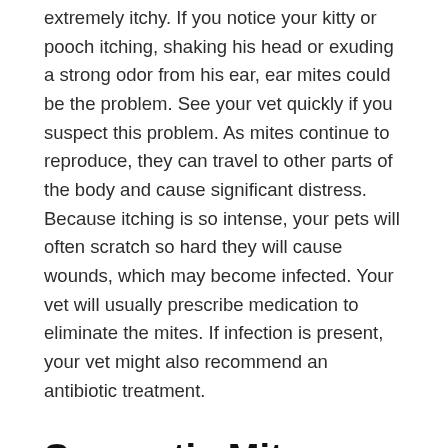extremely itchy. If you notice your kitty or pooch itching, shaking his head or exuding a strong odor from his ear, ear mites could be the problem. See your vet quickly if you suspect this problem. As mites continue to reproduce, they can travel to other parts of the body and cause significant distress. Because itching is so intense, your pets will often scratch so hard they will cause wounds, which may become infected. Your vet will usually prescribe medication to eliminate the mites. If infection is present, your vet might also recommend an antibiotic treatment.
Sarcoptic Mites
These mites are not to be confused with ear mites